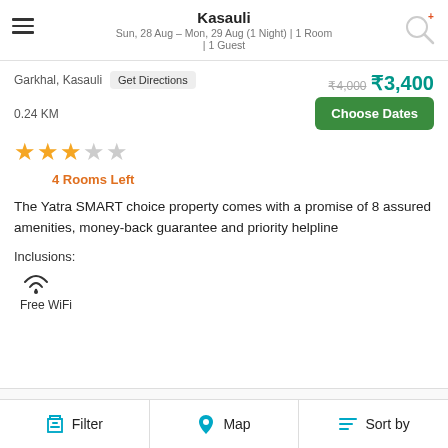Kasauli
Sun, 28 Aug – Mon, 29 Aug (1 Night) | 1 Room | 1 Guest
Garkhal, Kasauli   Get Directions   ₹4,000  ₹3,400
0.24 KM
[Choose Dates button]
★★★☆☆
4 Rooms Left
The Yatra SMART choice property comes with a promise of 8 assured amenities, money-back guarantee and priority helpline
Inclusions:
Free WiFi
Kasauli Castle in kasauli
Filter   Map   Sort by